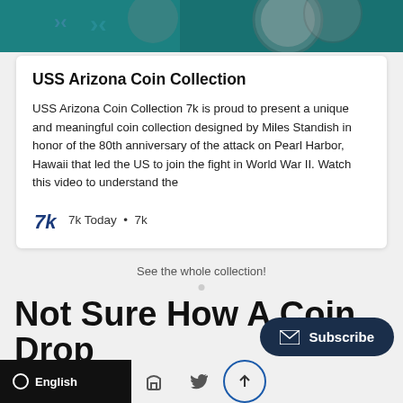[Figure (photo): Top banner image showing teal/turquoise water background with coin overlays]
USS Arizona Coin Collection
USS Arizona Coin Collection 7k is proud to present a unique and meaningful coin collection designed by Miles Standish in honor of the 80th anniversary of the attack on Pearl Harbor, Hawaii that led the US to join the fight in World War II. Watch this video to understand the
7k Today • 7k
See the whole collection!
Not Sure How A Coin Drop Works?